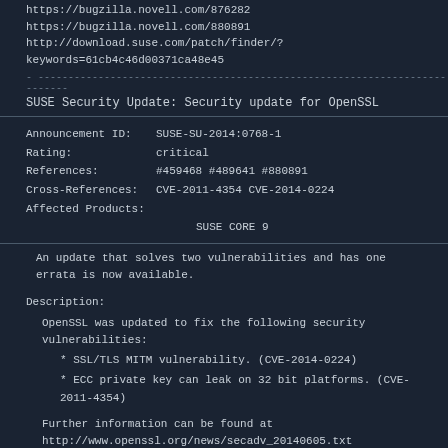https://bugzilla.novell.com/876282
https://bugzilla.novell.com/880891
http://download.suse.com/patch/finder/?keywords=61cb4c46d00371ca48e45
SUSE Security Update: Security update for OpenSSL
Announcement ID:    SUSE-SU-2014:0768-1
Rating:             critical
References:         #459468 #489641 #880891
Cross-References:   CVE-2011-4354 CVE-2014-0224
Affected Products:
                    SUSE CORE 9
An update that solves two vulnerabilities and has one errata is now available.
Description:
OpenSSL was updated to fix the following security vulnerabilities:
* SSL/TLS MITM vulnerability. (CVE-2014-0224)
* ECC private key can leak on 32 bit platforms. (CVE-2011-4354)
Further information can be found at http://www.openssl.org/news/secadv_20140605.txt <http://www.openssl.org/news/secadv_20140605.txt> .
Security Issues references: